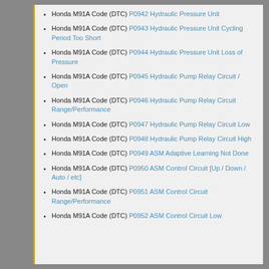Honda M91A Code (DTC) P0942 Hydraulic Pressure Unit
Honda M91A Code (DTC) P0943 Hydraulic Pressure Unit Cycling Period Too Short
Honda M91A Code (DTC) P0944 Hydraulic Pressure Unit Loss of Pressure
Honda M91A Code (DTC) P0945 Hydraulic Pump Relay Circuit / Open
Honda M91A Code (DTC) P0946 Hydraulic Pump Relay Circuit Range/Performance
Honda M91A Code (DTC) P0947 Hydraulic Pump Relay Circuit Low
Honda M91A Code (DTC) P0948 Hydraulic Pump Relay Circuit High
Honda M91A Code (DTC) P0949 ASM Adaptive Learning Not Done
Honda M91A Code (DTC) P0950 ASM Control Circuit [Up / Down / Auto / etc]
Honda M91A Code (DTC) P0951 ASM Control Circuit Range/Performance
Honda M91A Code (DTC) P0952 ASM Control Circuit Low